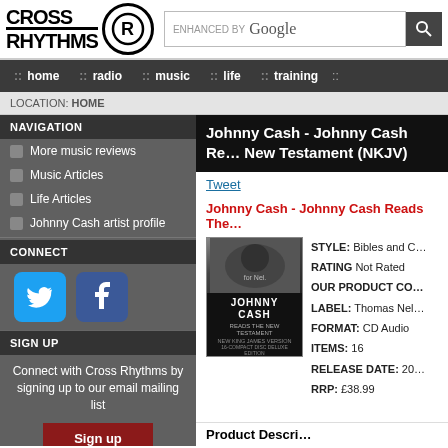[Figure (logo): Cross Rhythms logo with circular R icon, ENHANCED BY Google search bar]
home :: radio :: music :: life :: training
LOCATION: HOME
NAVIGATION
More music reviews
Music Articles
Life Articles
Johnny Cash artist profile
CONNECT
[Figure (logo): Twitter and Facebook social icons]
SIGN UP
Connect with Cross Rhythms by signing up to our email mailing list
Johnny Cash - Johnny Cash Reads The New Testament (NKJV)
Tweet
Johnny Cash - Johnny Cash Reads The New Testament (NKJV)
[Figure (photo): Album cover for Johnny Cash Reads The New Testament]
| Field | Value |
| --- | --- |
| STYLE: | Bibles and C... |
| RATING | Not Rated |
| OUR PRODUCT CO |  |
| LABEL: | Thomas Nel... |
| FORMAT: | CD Audio |
| ITEMS: | 16 |
| RELEASE DATE: | 20... |
| RRP: | £38.99 |
Product Description